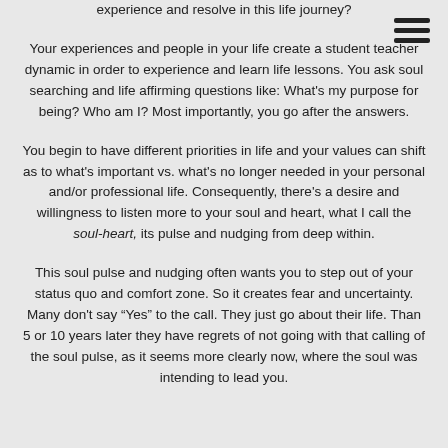experience and resolve in this life journey?
Your experiences and people in your life create a student teacher dynamic in order to experience and learn life lessons. You ask soul searching and life affirming questions like: What's my purpose for being? Who am I? Most importantly, you go after the answers.
You begin to have different priorities in life and your values can shift as to what's important vs. what's no longer needed in your personal and/or professional life. Consequently, there's a desire and willingness to listen more to your soul and heart, what I call the soul-heart, its pulse and nudging from deep within.
This soul pulse and nudging often wants you to step out of your status quo and comfort zone. So it creates fear and uncertainty. Many don't say “Yes” to the call. They just go about their life. Than 5 or 10 years later they have regrets of not going with that calling of the soul pulse, as it seems more clearly now, where the soul was intending to lead you.